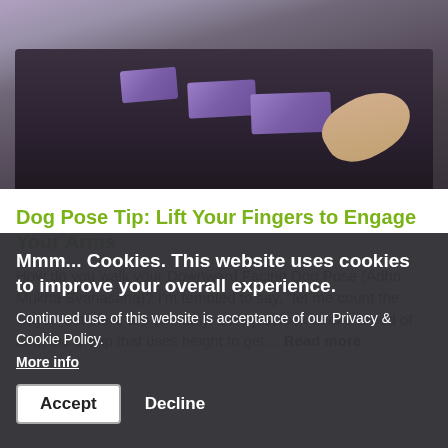[Figure (photo): Yoga class photo showing people in downward facing dog pose using purple foam blocks on dark mats in a studio]
Dog Pose Tip: Lift Your Fingers to Engage Your Arms
How do you walk your Downward Facing Dog Pose (Adho Mukha Svanasana)? I'm tempted to say, "let me count the ways," but there are so many. Let's just look at one breed of dog, the group that uses height to get.... Read more
Mmm... Cookies. This website uses cookies to improve your overall experience.
Continued use of this website is acceptance of our Privacy & Cookie Policy.
More info
Accept  Decline